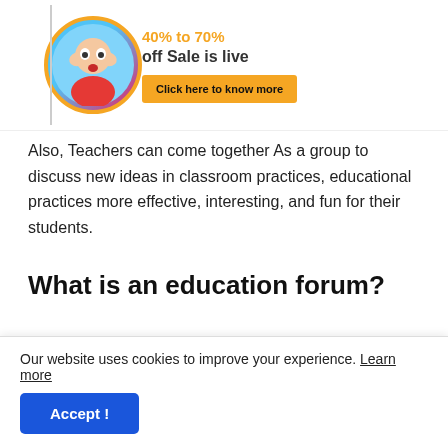[Figure (illustration): Website banner with circular photo of person covering face in surprise, 40% to 70% off Sale is live text, and orange Click here to know more button]
Also, Teachers can come together As a group to discuss new ideas in classroom practices, educational practices more effective, interesting, and fun for their students.
What is an education forum?
An Education Forum is an Online Community platform/Place where Students & teachers can Able
Our website uses cookies to improve your experience. Learn more
Accept !